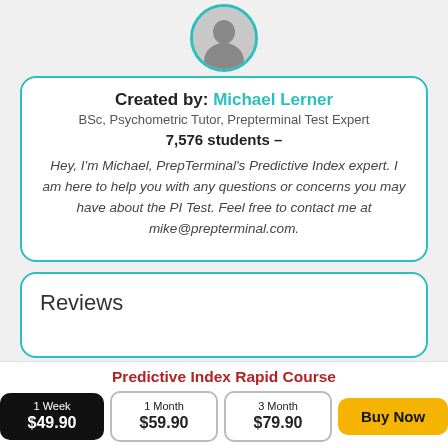[Figure (photo): Circular avatar photo of Michael Lerner with teal border]
Created by: Michael Lerner
BSc, Psychometric Tutor, Prepterminal Test Expert
7,576 students –
Hey, I'm Michael, PrepTerminal's Predictive Index expert. I am here to help you with any questions or concerns you may have about the PI Test. Feel free to contact me at mike@prepterminal.com.
Reviews
Predictive Index Rapid Course
1 Week $49.90
1 Month $59.90
3 Month $79.90
Buy Now